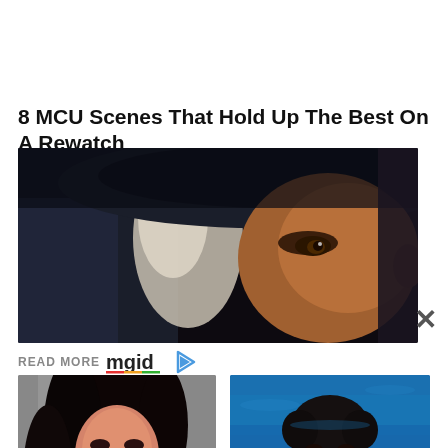8 MCU Scenes That Hold Up The Best On A Rewatch
[Figure (photo): Close-up of a person wearing a dark baseball cap with white hair visible, dramatic low lighting]
READ MORE
[Figure (logo): mgid logo with colored underline and play button icon]
[Figure (photo): Young woman with long dark hair in white top, modeling photo against grey background]
7 Of The Best Top Models From India
[Figure (photo): Athletic man shirtless in or near a swimming pool with blue water background]
15 Countries Where Men Have Difficulties Finding A Wife